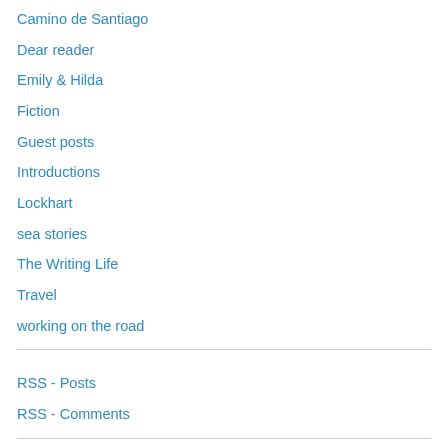Camino de Santiago
Dear reader
Emily & Hilda
Fiction
Guest posts
Introductions
Lockhart
sea stories
The Writing Life
Travel
working on the road
RSS - Posts
RSS - Comments
Follow this blog via Email
Enter your email address to follow this blog and receive notifications of